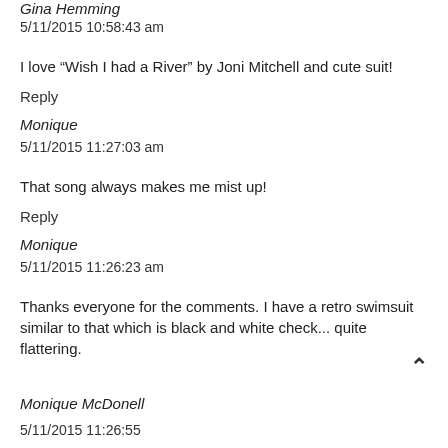Gina Hemming
5/11/2015 10:58:43 am
I love “Wish I had a River” by Joni Mitchell and cute suit!
Reply
Monique
5/11/2015 11:27:03 am
That song always makes me mist up!
Reply
Monique
5/11/2015 11:26:23 am
Thanks everyone for the comments. I have a retro swimsuit similar to that which is black and white check... quite flattering.
Monique McDonell